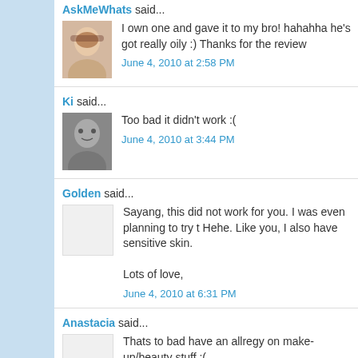AskMeWhats said...
I own one and gave it to my bro! hahahha he's got really oily :) Thanks for the review
June 4, 2010 at 2:58 PM
Ki said...
Too bad it didn't work :(
June 4, 2010 at 3:44 PM
Golden said...
Sayang, this did not work for you. I was even planning to try t Hehe. Like you, I also have sensitive skin.

Lots of love,
June 4, 2010 at 6:31 PM
Anastacia said...
Thats to bad have an allregy on make-up/beauty stuff :(
June 4, 2010 at 9:36 PM